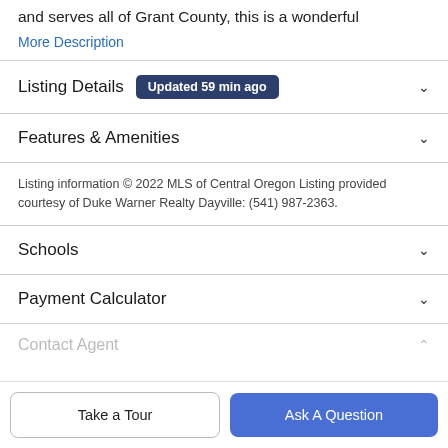and serves all of Grant County, this is a wonderful
More Description
Listing Details
Updated 59 min ago
Features & Amenities
Listing information © 2022 MLS of Central Oregon Listing provided courtesy of Duke Warner Realty Dayville: (541) 987-2363.
Schools
Payment Calculator
Contact Agent
Take a Tour
Ask A Question